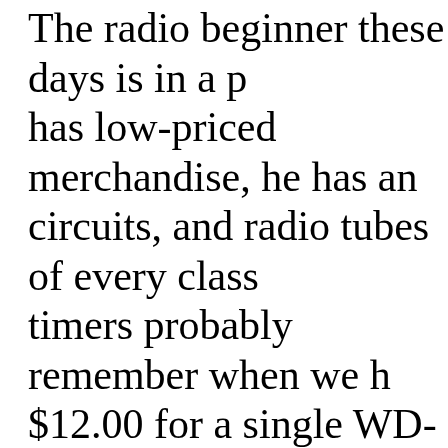The radio beginner these days is in a p has low-priced merchandise, he has an circuits, and radio tubes of every class timers probably remember when we h $12.00 for a single WD-11 tube. Then in the luxury class. Today, he buys rad and upwards, the average tube costing Also, today, the radio beginner has mu for a fraction of their cost than they ha